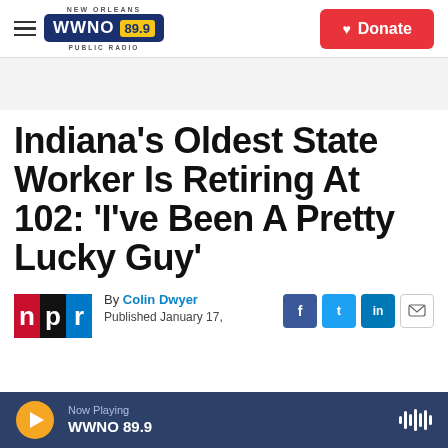NEW ORLEANS WWNO 89.9 PUBLIC RADIO | Donate
Indiana's Oldest State Worker Is Retiring At 102: 'I've Been A Pretty Lucky Guy'
By Colin Dwyer
Published January 17,
Now Playing WWNO 89.9